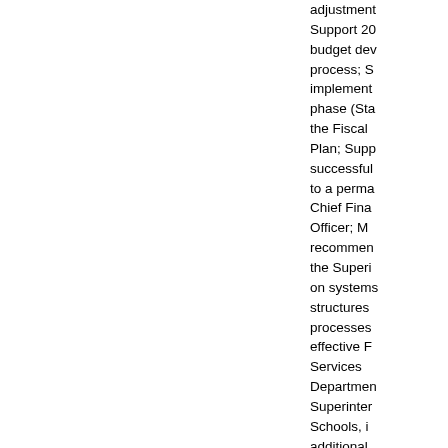adjustment Support 20 budget dev process; S implement phase (Sta the Fiscal Plan; Supp successful to a perma Chief Fina Officer; M recommen the Superi on systems structures processes effective F Services Departmen Superinter Schools, i additional not to exce $90,000.00 increasing exceed am the Contr